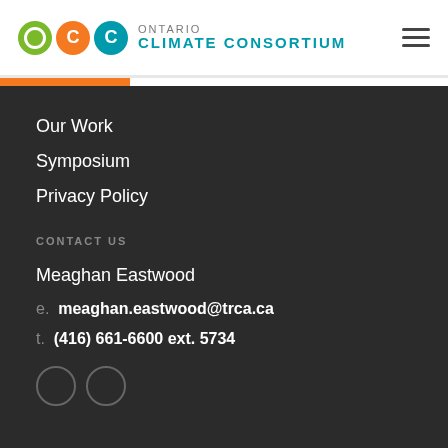Ontario Climate Consortium
Our Work
Symposium
Privacy Policy
CONTACT US
Meaghan Eastwood
e. meaghan.eastwood@trca.ca
t. (416) 661-6600 ext. 5734